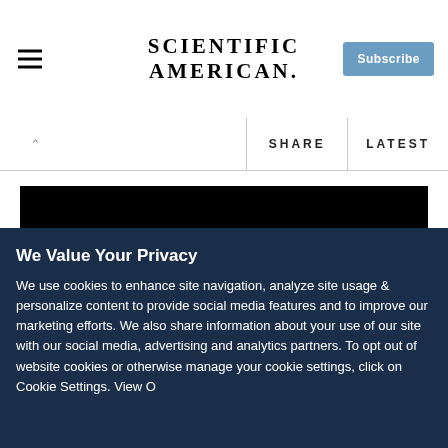Scientific American — Subscribe
SHARE   LATEST
[Figure (photo): Photograph of Mars showing the planet partially lit against a black space background, with reddish-brown surface features visible.]
We Value Your Privacy
We use cookies to enhance site navigation, analyze site usage & personalize content to provide social media features and to improve our marketing efforts. We also share information about your use of our site with our social media, advertising and analytics partners. To opt out of website cookies or otherwise manage your cookie settings, click on Cookie Settings. View Our